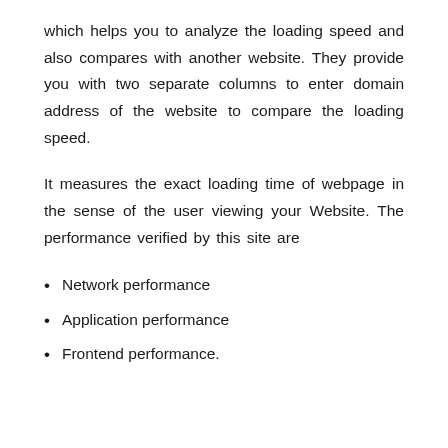which helps you to analyze the loading speed and also compares with another website. They provide you with two separate columns to enter domain address of the website to compare the loading speed.
It measures the exact loading time of webpage in the sense of the user viewing your Website. The performance verified by this site are
Network performance
Application performance
Frontend performance.